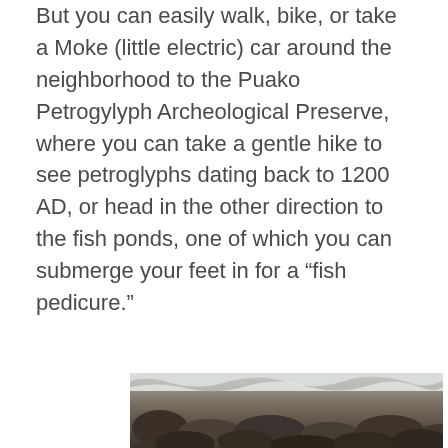But you can easily walk, bike, or take a Moke (little electric) car around the neighborhood to the Puako Petrogylyph Archeological Preserve, where you can take a gentle hike to see petroglyphs dating back to 1200 AD, or head in the other direction to the fish ponds, one of which you can submerge your feet in for a “fish pedicure.”
[Figure (photo): Partial view of a rocky landscape or stone surface, appears to be lava rocks or stones, bottom portion of the page]